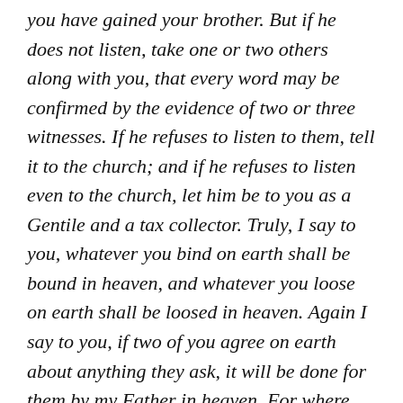you have gained your brother. But if he does not listen, take one or two others along with you, that every word may be confirmed by the evidence of two or three witnesses. If he refuses to listen to them, tell it to the church; and if he refuses to listen even to the church, let him be to you as a Gentile and a tax collector. Truly, I say to you, whatever you bind on earth shall be bound in heaven, and whatever you loose on earth shall be loosed in heaven. Again I say to you, if two of you agree on earth about anything they ask, it will be done for them by my Father in heaven. For where two or three are gathered in my name, there am I in the midst of them.
Then Peter came up and said to him, “Lord, how often shall my brother sin against me, and I forgive him? As